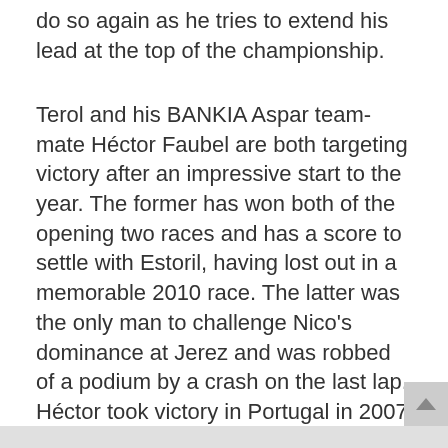do so again as he tries to extend his lead at the top of the championship.
Terol and his BANKIA Aspar team-mate Héctor Faubel are both targeting victory after an impressive start to the year. The former has won both of the opening two races and has a score to settle with Estoril, having lost out in a memorable 2010 race. The latter was the only man to challenge Nico's dominance at Jerez and was robbed of a podium by a crash on the last lap. Héctor took victory in Portugal in 2007 and finished second there in 2005 and 2006. Meanwhile BANKIA Aspar Team youngster Adrián Martín is looking to turn around a disappointing start to the campaign but enjoyed a test session at Valencia last week and is looking to put the progress made to good use this weekend.